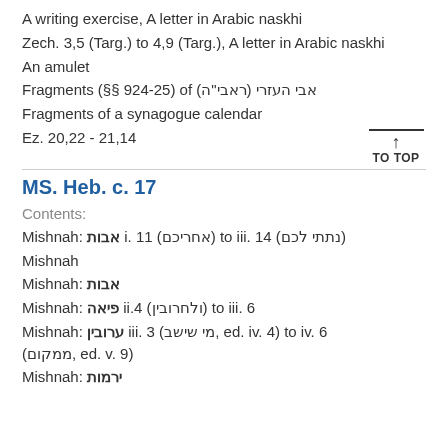A writing exercise, A letter in Arabic naskhi
Zech. 3,5 (Targ.) to 4,9 (Targ.), A letter in Arabic naskhi
An amulet
Fragments (§§ 924-25) of (ראבי"ה) אבי העזרי
Fragments of a synagogue calendar
Ez. 20,22 - 21,14
MS. Heb. c. 17
Contents:
Mishnah: אבות i. 11 (אחריכם) to iii. 14 (נתתי לכם)
Mishnah
Mishnah: אבות
Mishnah: פיאה ii.4 (ולחרובין) to iii. 6
Mishnah: ערובין iii. 3 (מי שישב, ed. iv. 4) to iv. 6 (ממקום, ed. v. 9)
Mishnah: ירמות